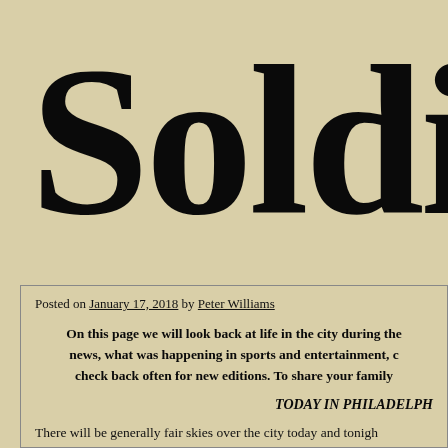Soldi
Posted on January 17, 2018 by Peter Williams
On this page we will look back at life in the city during the news, what was happening in sports and entertainment, c check back often for new editions. To share your family
TODAY IN PHILADELPH
There will be generally fair skies over the city today and tonigh